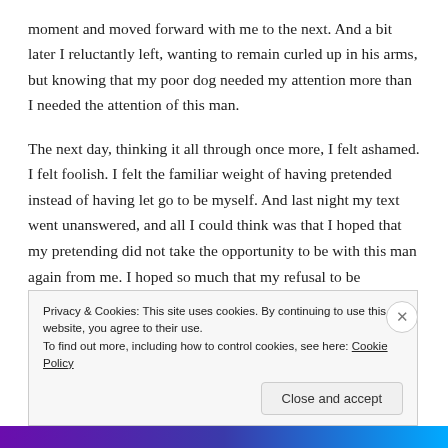moment and moved forward with me to the next.  And a bit later I reluctantly left, wanting to remain curled up in his arms, but knowing that my poor dog needed my attention more than I needed the attention of this man.
The next day, thinking it all through once more, I felt ashamed.  I felt foolish.  I felt the familiar weight of having pretended instead of having let go to be myself.  And last night my text went unanswered, and all I could think was that I hoped that my pretending did not take the opportunity to be with this man again from me.  I hoped so much that my refusal to be vulnerable and true
Privacy & Cookies: This site uses cookies. By continuing to use this website, you agree to their use.
To find out more, including how to control cookies, see here: Cookie Policy